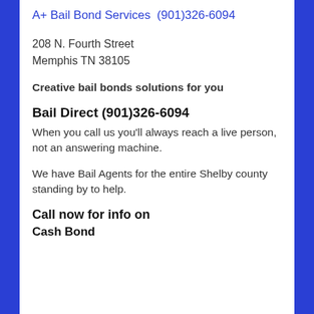A+ Bail Bond Services  (901)326-6094
208 N. Fourth Street
Memphis TN 38105
Creative bail bonds solutions for you
Bail Direct (901)326-6094
When you call us you'll always reach a live person, not an answering machine.
We have Bail Agents for the entire Shelby county standing by to help.
Call now for info on
Cash Bond